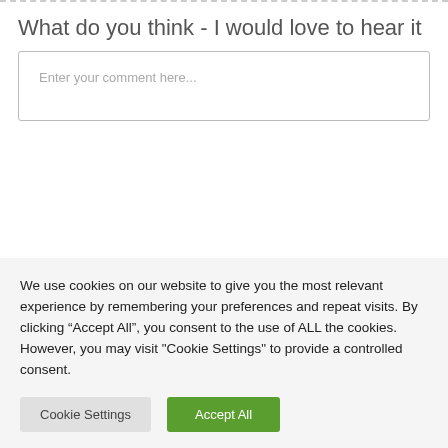What do you think - I would love to hear it
Enter your comment here...
We use cookies on our website to give you the most relevant experience by remembering your preferences and repeat visits. By clicking “Accept All”, you consent to the use of ALL the cookies. However, you may visit "Cookie Settings" to provide a controlled consent.
Cookie Settings | Accept All